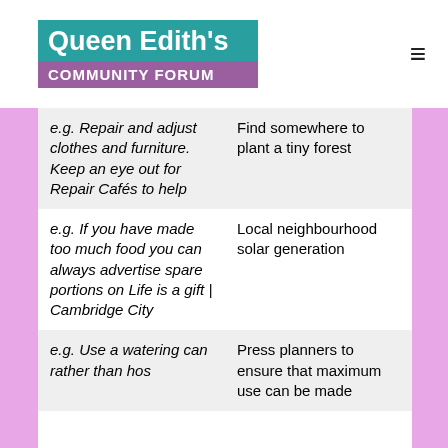Queen Edith's COMMUNITY FORUM
| Example action | Community/larger action |
| --- | --- |
| e.g. Repair and adjust clothes and furniture. Keep an eye out for Repair Cafés to help | Find somewhere to plant a tiny forest |
| e.g. If you have made too much food you can always advertise spare portions on Life is a gift | Cambridge City | Local neighbourhood solar generation |
| e.g. Use a watering can rather than hos | Press planners to ensure that maximum use can be made |